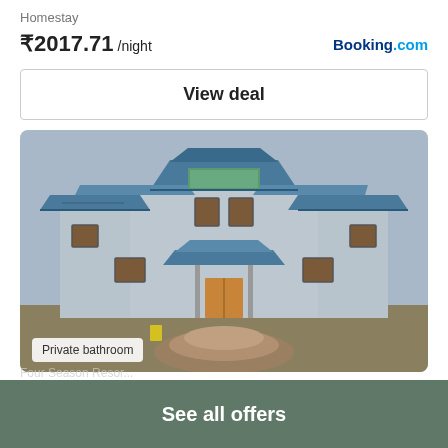Homestay
₹2017.71 /night
Booking.com
View deal
[Figure (photo): A multi-storey blue and white homestay building with tiered roofs, balconies, and a circular stone staircase at entrance.]
Private bathroom
Four Season Resor...
See all offers